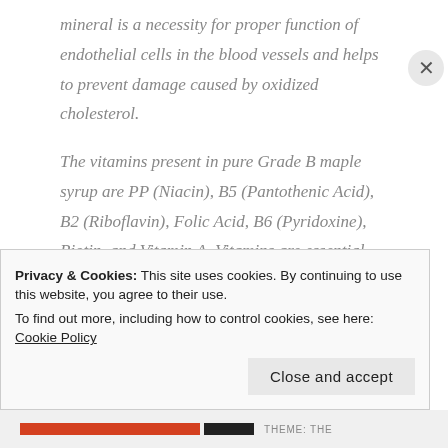mineral is a necessity for proper function of endothelial cells in the blood vessels and helps to prevent damage caused by oxidized cholesterol.
The vitamins present in pure Grade B maple syrup are PP (Niacin), B5 (Pantothenic Acid), B2 (Riboflavin), Folic Acid, B6 (Pyridoxine), Biotin, and Vitamin A. Vitamins are essential,
Privacy & Cookies: This site uses cookies. By continuing to use this website, you agree to their use.
To find out more, including how to control cookies, see here: Cookie Policy